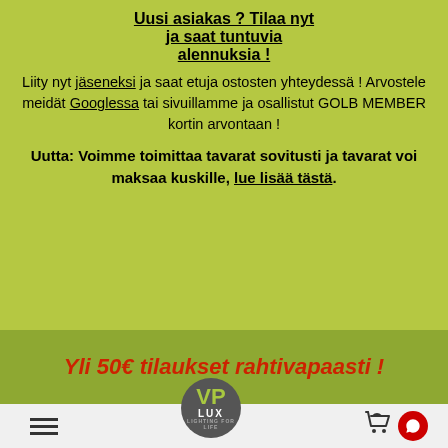Uusi asiakas ? Tilaa nyt ja saat tuntuvia alennuksia !
Liity nyt jäseneksi ja saat etuja ostosten yhteydessä ! Arvostele meidät Googlessa tai sivuillamme ja osallistut GOLB MEMBER kortin arvontaan !
Uutta: Voimme toimittaa tavarat sovitusti ja tavarat voi maksaa kuskille, lue lisää tästä.
Yli 50€ tilaukset rahtivapaasti !
[Figure (logo): VP Lux Lighting for Life logo in circular badge, gray background]